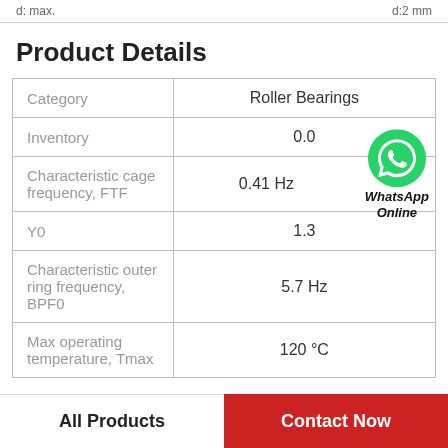d: max.    d:2 mm
Product Details
| Property | Value |
| --- | --- |
| Category | Roller Bearings |
| Inventory | 0.0 |
| Characteristic cage frequency, FTF | 0.41 Hz |
| Y0 | 1.3 |
| Characteristic outer ring frequency, BPF0 | 5.7 Hz |
| Max operating temperature, Tmax | 120 °C |
All Products | Contact Now